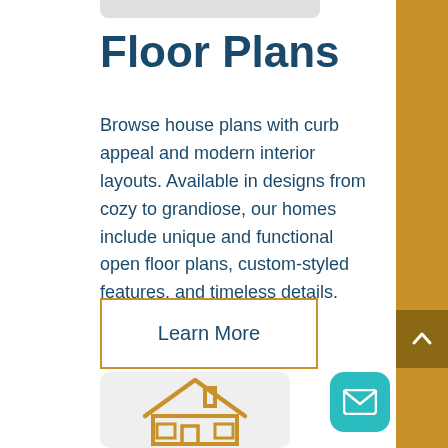Floor Plans
Browse house plans with curb appeal and modern interior layouts. Available in designs from cozy to grandiose, our homes include unique and functional open floor plans, custom-styled features, and timeless details.
Learn More
[Figure (illustration): Outline icon of a house with chimney in golden/amber color on a light gray rounded rectangle background]